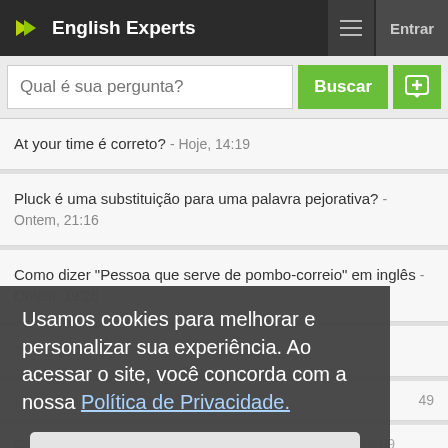English Experts
Qual é sua pergunta?
At your time é correto? - Hoje, 14:19
Pluck é uma substituição para uma palavra pejorativa? - Ontem, 21:16
Como dizer "Pessoa que serve de pombo-correio" em inglês - Ontem, 19:26
Usamos cookies para melhorar e personalizar sua experiência. Ao acessar o site, você concorda com a nossa Política de Privacidade.
Eu entendi!
49
Como dizer "Na maioria dos casos" em inglês - Ontem, 12:09